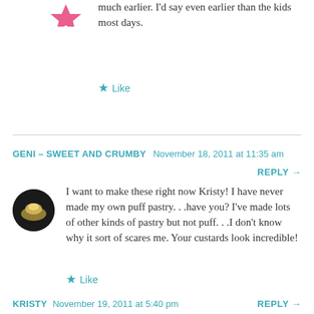much earlier. I'd say even earlier than the kids most days.
Like
GENI - SWEET AND CRUMBY   November 18, 2011 at 11:35 am
REPLY →
I want to make these right now Kristy! I have never made my own puff pastry. . .have you? I've made lots of other kinds of pastry but not puff. . .I don't know why it sort of scares me. Your custards look incredible!
Like
KRISTY   November 19, 2011 at 5:40 pm
REPLY →